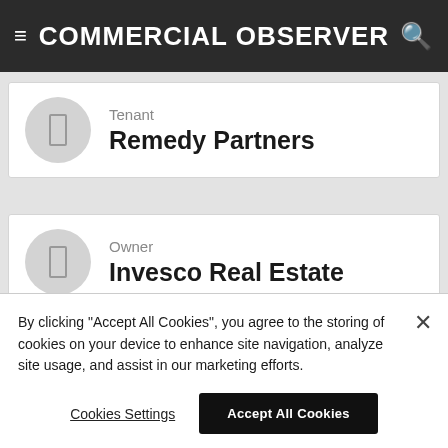COMMERCIAL OBSERVER
Tenant
Remedy Partners
Owner
Invesco Real Estate
Tenant
By clicking "Accept All Cookies", you agree to the storing of cookies on your device to enhance site navigation, analyze site usage, and assist in our marketing efforts.
Cookies Settings
Accept All Cookies